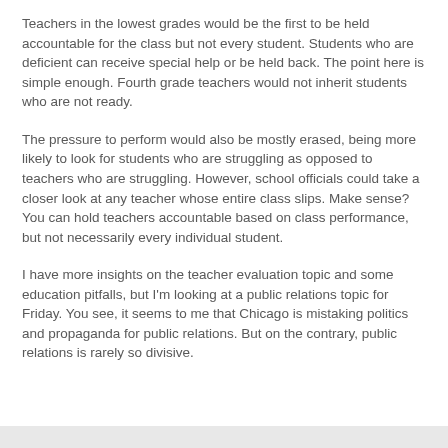Teachers in the lowest grades would be the first to be held accountable for the class but not every student. Students who are deficient can receive special help or be held back. The point here is simple enough. Fourth grade teachers would not inherit students who are not ready.
The pressure to perform would also be mostly erased, being more likely to look for students who are struggling as opposed to teachers who are struggling. However, school officials could take a closer look at any teacher whose entire class slips. Make sense? You can hold teachers accountable based on class performance, but not necessarily every individual student.
I have more insights on the teacher evaluation topic and some education pitfalls, but I'm looking at a public relations topic for Friday. You see, it seems to me that Chicago is mistaking politics and propaganda for public relations. But on the contrary, public relations is rarely so divisive.